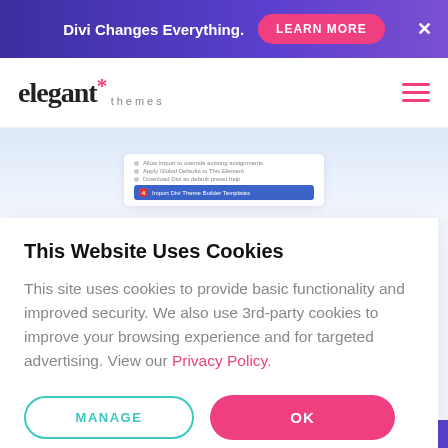Divi Changes Everything. LEARN MORE ×
[Figure (logo): Elegant Themes logo with asterisk and 'themes' subtext]
[Figure (screenshot): Partial screenshot of a Divi page builder interface with checklist items and a blue import button]
This Website Uses Cookies
This site uses cookies to provide basic functionality and improved security. We also use 3rd-party cookies to improve your browsing experience and for targeted advertising. View our Privacy Policy.
MANAGE | OK